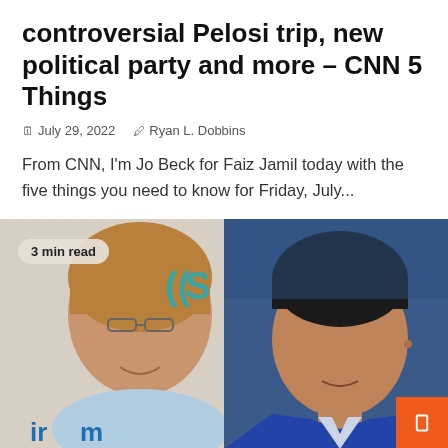controversial Pelosi trip, new political party and more – CNN 5 Things
🗓 July 29, 2022  🖊 Ryan L. Dobbins
From CNN, I'm Jo Beck for Faiz Jamil today with the five things you need to know for Friday, July...
[Figure (photo): Split image: left side shows a smiling woman with short brown hair and glasses wearing a light blue outfit at what appears to be a SiriusXM event; right side shows an Asian man in a blue suit speaking at a conference. A '3 min read' badge overlays the top-left. An orange button with a bookmark icon is in the bottom-right corner.]